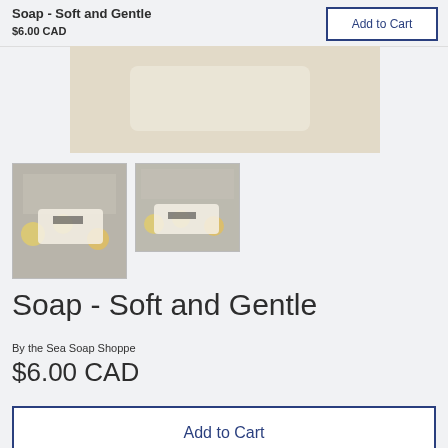Soap - Soft and Gentle
$6.00 CAD
[Figure (photo): Main product image showing soap bar with light beige/cream background]
[Figure (photo): Thumbnail 1: Soap bar with yellow flowers on striped background]
[Figure (photo): Thumbnail 2: Soap bar with yellow flowers, slightly different angle]
Soap - Soft and Gentle
By the Sea Soap Shoppe
$6.00 CAD
Add to Cart